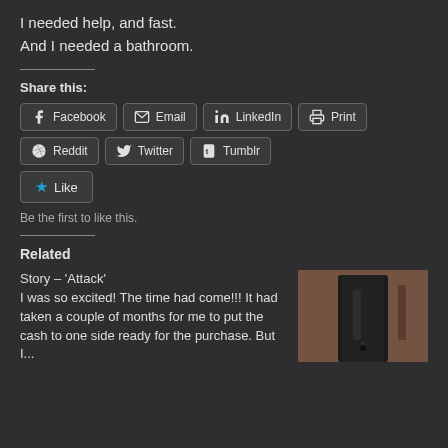I needed help, and fast.
And I needed a bathroom.
Share this:
[Figure (infographic): Share buttons: Facebook, Email, LinkedIn, Print, Reddit, Twitter, Tumblr]
[Figure (infographic): Like button with star icon]
Be the first to like this.
Related
Story – 'Attack'
I was so excited! The time had come!!! It had taken a couple of months for me to put the cash to one side ready for the purchase. But I...
[Figure (photo): Person wearing black shiny latex/catsuit in a barn-like setting]